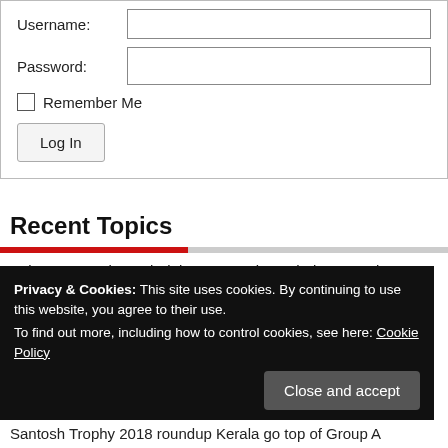[Figure (screenshot): Login form with Username and Password fields, Remember Me checkbox, and Log In button]
Recent Topics
Pokemon Scarlet and Violet Fan Designs Their Own Takes on Fuecoco's Evolutions
Elden Ring Trick Lets Players Skip Chest Animations
Privacy & Cookies: This site uses cookies. By continuing to use this website, you agree to their use.
To find out more, including how to control cookies, see here: Cookie Policy
Close and accept
Santosh Trophy 2018 roundup Kerala go top of Group A